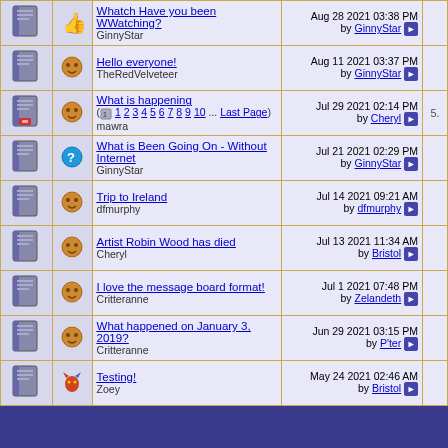| icon | mood | topic | last post | extra |
| --- | --- | --- | --- | --- |
| [book] | [emoji] | Whatch Have you been WWatching? / GinnyStar | Aug 28 2021 03:38 PM by GinnyStar |  |
| [book] | [cookie] | Hello everyone! / TheRedVelveteer | Aug 11 2021 03:37 PM by GinnyStar |  |
| [book-lock] | [cookie] | What is happening (1 2 3 4 5 6 7 8 9 10 ... Last Page) / mawra | Jul 29 2021 02:14 PM by Cheryl | 5. |
| [book] | [?] | What is Been Going On - Without Internet / GinnyStar | Jul 21 2021 02:29 PM by GinnyStar |  |
| [book] | [cookie] | Trip to Ireland / dfmurphy | Jul 14 2021 09:21 AM by dfmurphy |  |
| [book] | [cookie] | Artist Robin Wood has died / Cheryl | Jul 13 2021 11:34 AM by Bristol |  |
| [book] | [cookie] | I love the message board format! / Critteranne | Jul 1 2021 07:48 PM by Zelandeth |  |
| [book] | [cookie] | What happened on January 3, 2019? / Critteranne | Jun 29 2021 03:15 PM by P'ter |  |
| [book] | [dragon] | Testing! / Zoey | May 24 2021 02:46 AM by Bristol |  |